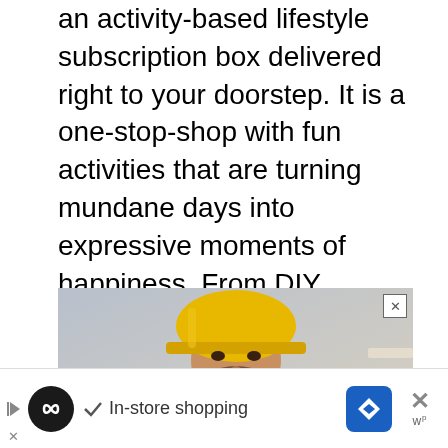creativity with the daily gift. The Idle Free Box is an activity-based lifestyle subscription box delivered right to your doorstep. It is a one-stop-shop with fun activities that are turning mundane days into expressive moments of happiness. From DIY painting and embroidery kits to puzzles and workout plans, you'll be amazed at what will fill your mother's time! Sign her up because she deserves some fun while at home. Learn more about The Idle Free Box here: https://www.theidlefreebox.com/
[Figure (photo): Photo of a man wearing a yellow hard hat / construction helmet, appears to be a construction worker. Partial advertisement image visible.]
[Figure (infographic): Bottom advertisement bar with dark circular logo, checkmark icon, text 'In-store shopping', blue navigation diamond icon, and close X button with 'w' text.]